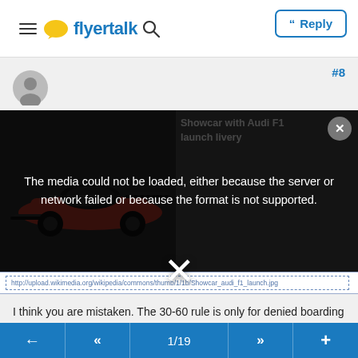flyertalk — Reply
#8
[Figure (screenshot): Error overlay on dark media player background showing a partially visible F1 race car (red/dark) on the left, with overlay text: 'Showcar with Audi F1 launch livery'. The error message overlay reads: 'The media could not be loaded, either because the server or network failed or because the format is not supported.' A large X dismiss icon appears below the overlay and a close button (circle-X) in the top right. A dashed URL bar is visible below.]
I think you are mistaken. The 30-60 rule is only for denied boarding due to safety reasons. 30 seems to be the minimum.
Quote:
If the airline must substitute a smaller plane for the one it originally planned to use, the carrier isn't required to pay
1/19